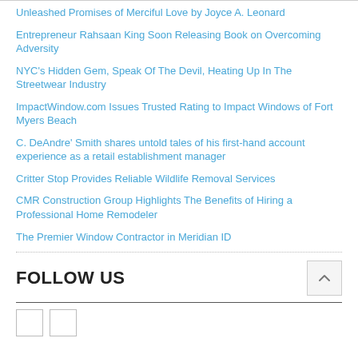Unleashed Promises of Merciful Love by Joyce A. Leonard
Entrepreneur Rahsaan King Soon Releasing Book on Overcoming Adversity
NYC's Hidden Gem, Speak Of The Devil, Heating Up In The Streetwear Industry
ImpactWindow.com Issues Trusted Rating to Impact Windows of Fort Myers Beach
C. DeAndre' Smith shares untold tales of his first-hand account experience as a retail establishment manager
Critter Stop Provides Reliable Wildlife Removal Services
CMR Construction Group Highlights The Benefits of Hiring a Professional Home Remodeler
The Premier Window Contractor in Meridian ID
FOLLOW US